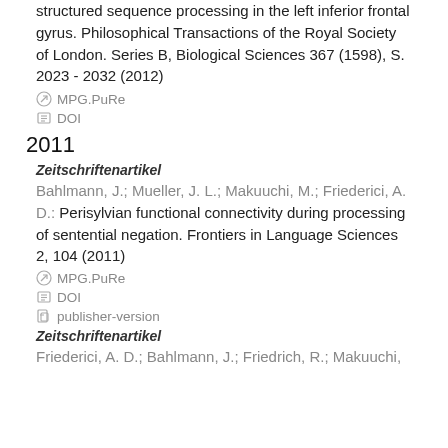structured sequence processing in the left inferior frontal gyrus. Philosophical Transactions of the Royal Society of London. Series B, Biological Sciences 367 (1598), S. 2023 - 2032 (2012)
MPG.PuRe
DOI
2011
Zeitschriftenartikel
Bahlmann, J.; Mueller, J. L.; Makuuchi, M.; Friederici, A. D.: Perisylvian functional connectivity during processing of sentential negation. Frontiers in Language Sciences 2, 104 (2011)
MPG.PuRe
DOI
publisher-version
Zeitschriftenartikel
Friederici, A. D.; Bahlmann, J.; Friedrich, R.; Makuuchi,